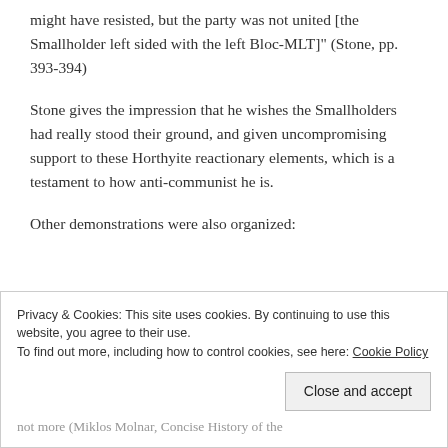might have resisted, but the party was not united [the Smallholder left sided with the left Bloc-MLT]" (Stone, pp. 393-394)
Stone gives the impression that he wishes the Smallholders had really stood their ground, and given uncompromising support to these Horthyite reactionary elements, which is a testament to how anti-communist he is.
Other demonstrations were also organized:
Privacy & Cookies: This site uses cookies. By continuing to use this website, you agree to their use.
To find out more, including how to control cookies, see here: Cookie Policy
Close and accept
not more (Miklos Molnar, Concise History of the